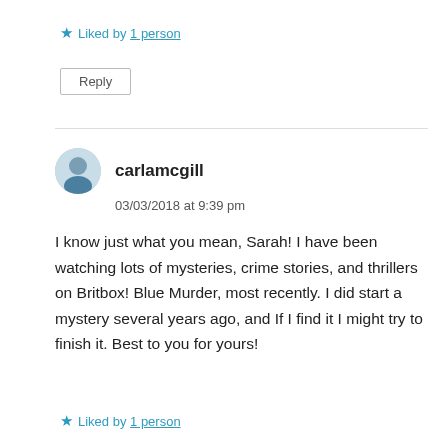★ Liked by 1 person
Reply
carlamcgill
03/03/2018 at 9:39 pm
I know just what you mean, Sarah! I have been watching lots of mysteries, crime stories, and thrillers on Britbox! Blue Murder, most recently. I did start a mystery several years ago, and If I find it I might try to finish it. Best to you for yours!
★ Liked by 1 person